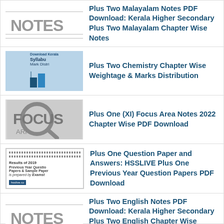Plus Two Malayalam Notes PDF Download: Kerala Higher Secondary Plus Two Malayalam Chapter Wise Notes
Plus Two Chemistry Chapter Wise Weightage & Marks Distribution
Plus One (XI) Focus Area Notes 2022 Chapter Wise PDF Download
Plus One Question Paper and Answers: HSSLIVE Plus One Previous Year Question Papers PDF Download
Plus Two English Notes PDF Download: Kerala Higher Secondary Plus Two English Chapter Wise Notes